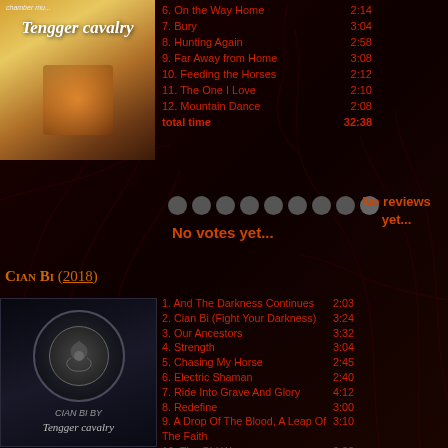[Figure (photo): Album cover for Tengger Cavalry chamber music album, colorful traditional dress]
6. On the Way Home   2:14
7. Bury   3:04
8. Hunting Again   2:58
9. Far Away from Home   3:08
10. Feeding the Horses   2:12
11. The One I Love   2:10
12. Mountain Dance   2:08
total time   32:38
[Figure (infographic): Star rating dots row - No votes yet...]
No votes yet...
No reviews yet...
Cian Bi (2018)
1. And The Darkness Continues   2:03
2. Cian Bi (Fight Your Darkness)   3:24
3. Our Ancestors   3:32
4. Strength   3:04
5. Chasing My Horse   2:45
6. Electric Shaman   2:40
7. Ride Into Grave And Glory   4:12
8. Redefine   3:00
9. A Drop Of The Blood, A Leap Of The Faith   3:10
10. The Old War   3:23
11. One Tribe, Beyond Any Nation   2:57
12. Just Forgive   2:27
13. One-Track Mind   3:08
14. You And I, Under The Same Sky   3:04
15. Sitting In Circle   1:00
total time   43:49
[Figure (photo): Album cover for Cian Bi by Tengger Cavalry - dark ornate design with circular emblem]
HD cover